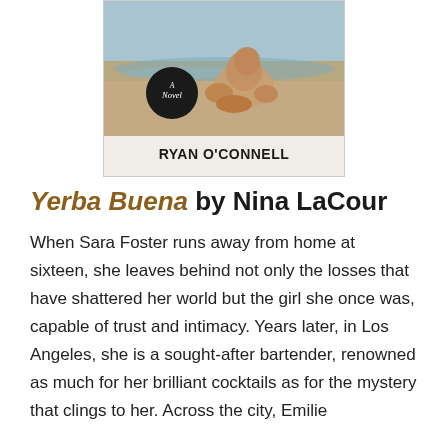[Figure (illustration): Book cover image showing a figure crouched on a beach with a dark circular badge reading 'A Novel' over the artwork. Author name RYAN O'CONNELL printed in bold below the image on a light background.]
Yerba Buena by Nina LaCour
When Sara Foster runs away from home at sixteen, she leaves behind not only the losses that have shattered her world but the girl she once was, capable of trust and intimacy. Years later, in Los Angeles, she is a sought-after bartender, renowned as much for her brilliant cocktails as for the mystery that clings to her. Across the city, Emilie